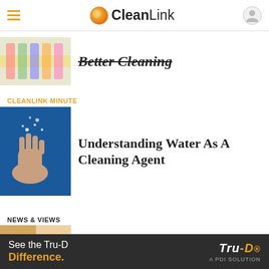CleanLink
Better Cleaning
CLEANLINK MINUTE
Understanding Water As A Cleaning Agent
NEWS & VIEWS
Hospital Door Handles Called Significant Source of MRSA
NEWS & VIEWS
Xenex Awarded For Visionary
[Figure (screenshot): Advertisement banner: See the Tru-D Difference. Tru-D A PDI Solution logo on dark background]